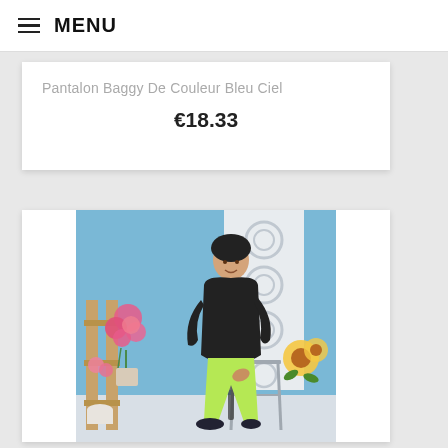≡ MENU
Pantalon Baggy De Couleur Bleu Ciel
€18.33
[Figure (photo): Woman wearing black top and light green baggy pants seated on a stool in a photo studio with blue background, decorative white panel, and flowers]